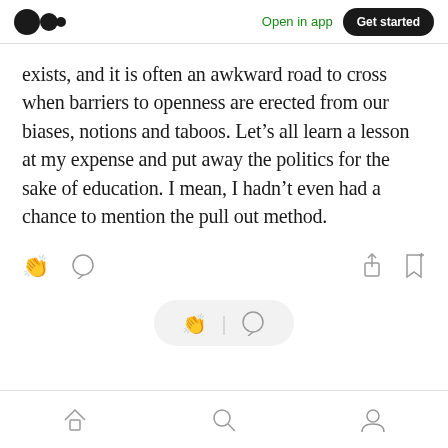Medium app header — Open in app | Get started
exists, and it is often an awkward road to cross when barriers to openness are erected from our biases, notions and taboos. Let’s all learn a lesson at my expense and put away the politics for the sake of education. I mean, I hadn’t even had a chance to mention the pull out method.
[Figure (screenshot): Medium article action bar with clap, comment, share, and bookmark icons, plus a floating pill with clap and comment icons, and a bottom navigation bar with home, search, and profile icons.]